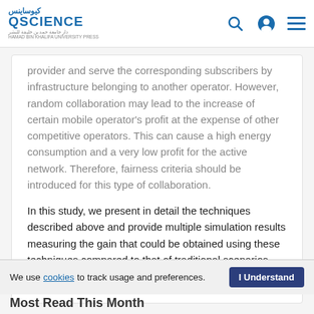QSCIENCE (QScience logo and navigation bar)
provider and serve the corresponding subscribers by infrastructure belonging to another operator. However, random collaboration may lead to the increase of certain mobile operator's profit at the expense of other competitive operators. This can cause a high energy consumption and a very low profit for the active network. Therefore, fairness criteria should be introduced for this type of collaboration.
In this study, we present in detail the techniques described above and provide multiple simulation results measuring the gain that could be obtained using these techniques compared to that of traditional scenarios.
© 2016 Ghazzai, Kadri, licensee HBKU Press.
We use cookies to track usage and preferences. I Understand
Most Read This Month